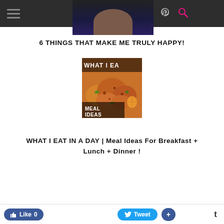Navigation bar with hamburger menu and social icons (Twitter, Facebook, YouTube, Instagram, Pinterest, Search)
6 THINGS THAT MAKE ME TRULY HAPPY!
[Figure (photo): Food thumbnail image showing 'WHAT I EAT' and 'MEAL IDEAS' text overlay on a photo of cooked food/chicken]
WHAT I EAT IN A DAY | Meal Ideas For Breakfast + Lunch + Dinner!
Like 0  Tweet  +  t